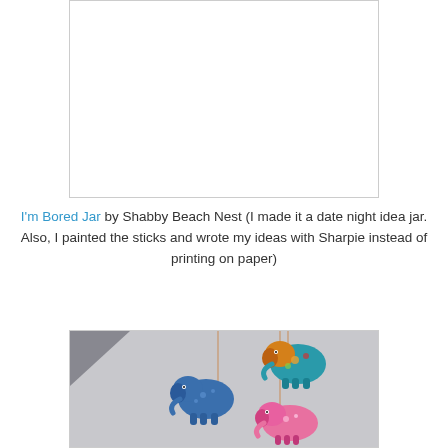[Figure (photo): Top image placeholder — white box with light border, appears to be an image of a bored jar craft project that did not load]
I'm Bored Jar by Shabby Beach Nest (I made it a date night idea jar. Also, I painted the sticks and wrote my ideas with Sharpie instead of printing on paper)
[Figure (photo): Photo of three decorative elephant cut-outs hanging as a mobile against a gray wall — one blue elephant in center, one multicolored elephant upper right, one pink elephant lower right, connected by thin strings]